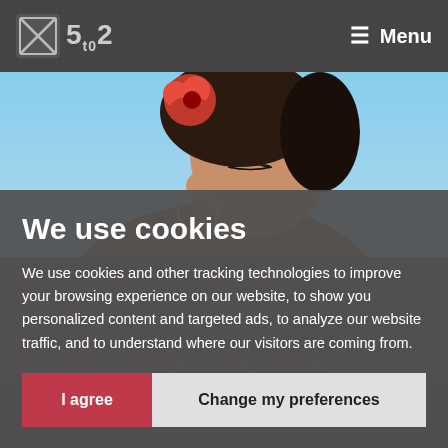Sto2 — Menu
[Figure (photo): Hero photo of a flamenco dancer woman with red flower in hair, looking down, with earrings, warm background tones]
We use cookies
We use cookies and other tracking technologies to improve your browsing experience on our website, to show you personalized content and targeted ads, to analyze our website traffic, and to understand where our visitors are coming from.
I agree
Change my preferences